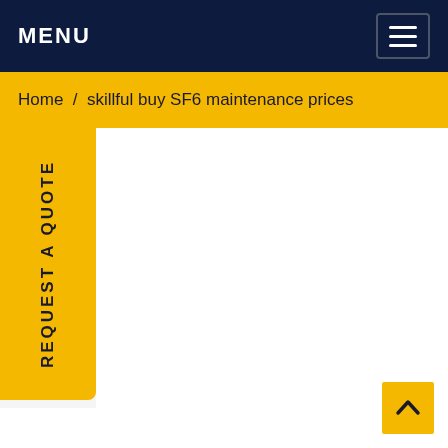MENU
Home / skillful buy SF6 maintenance prices
REQUEST A QUOTE
[Figure (screenshot): White content area to the right of the REQUEST A QUOTE side tab]
[Figure (other): Yellow back-to-top arrow button at bottom right]